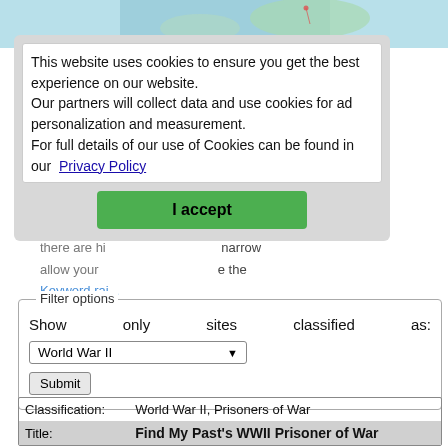[Figure (map): Partial map visible at top of page behind cookie consent overlay]
This website uses cookies to ensure you get the best experience on our website.
Our partners will collect data and use cookies for ad personalization and measurement.
For full details of our use of Cookies can be found in our Privacy Policy
I accept
World War 2 ... [obscured] ... topic
there are hi... [obscured] ... narrow
allow your... [obscured] ... the
Keyword rai...
Filter options
Show only sites classified as:
World War II
Submit
| Classification: | Title: |
| --- | --- |
| World War II, Prisoners of War | Find My Past's WWII Prisoner of War ... |
Find My Past's WWII Prisoner of War